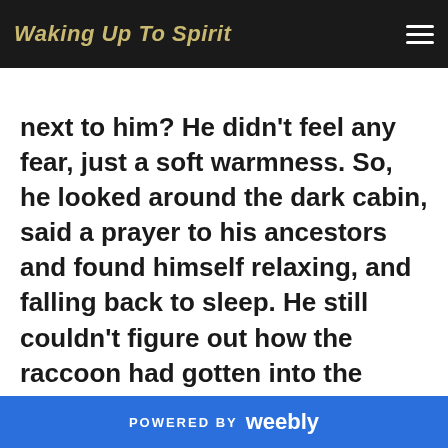Waking Up To Spirit
still didn't move. Was he safe with this wild creature laying next to him? He didn't feel any fear, just a soft warmness. So, he looked around the dark cabin, said a prayer to his ancestors and found himself relaxing, and falling back to sleep. He still couldn't figure out how the raccoon had gotten into the cabin, and what about others? This was a very young fellow, but wouldn't he have siblings and parents somewhere close? He didn't know. Well, these things would just have to sort themselves out in the morning, for the first time in a long time he felt another life connected with him and it woke something
POWERED BY weebly